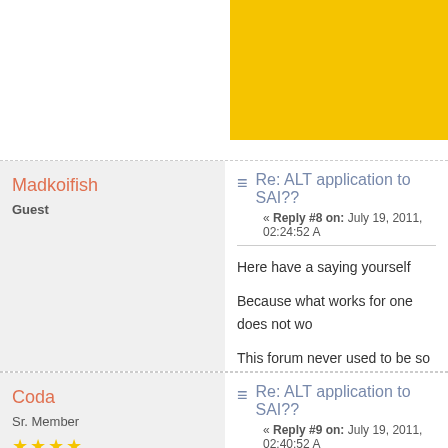[Figure (other): Yellow banner/advertisement in top right corner]
Madkoifish
Guest
Re: ALT application to SAI??
« Reply #8 on: July 19, 2011, 02:24:52 A
Here have a saying yourself

Because what works for one does not wo

This forum never used to be so hostile.
Coda
Sr. Member
[Figure (illustration): Forum avatar: cartoon character with wide eyes and open mouth, black and white]
Posts: 290
Re: ALT application to SAI??
« Reply #9 on: July 19, 2011, 02:40:52 A
Hostile?

Who's the one that has been jerking all o
Nothing is good enough, everything stink
Excuse me for coming at you at the sam